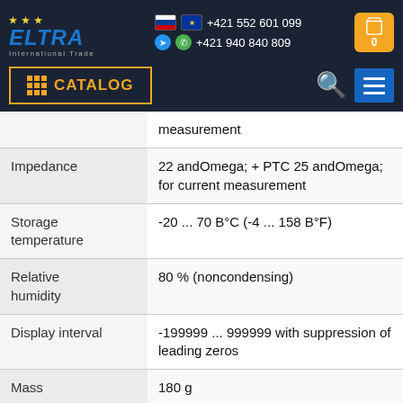[Figure (logo): ELTRA International Trade logo with EU stars on dark navy background, phone numbers +421 552 601 099 and +421 940 840 809 with flag icons, shopping cart icon, CATALOG button, search icon, and hamburger menu button]
| Property | Value |
| --- | --- |
|  | measurement |
| Impedance | 22 andOmega; + PTC 25 andOmega; for current measurement |
| Storage temperature | -20 ... 70 B°C (-4 ... 158 B°F) |
| Relative humidity | 80 % (noncondensing) |
| Display interval | -199999 ... 999999 with suppression of leading zeros |
| Mass | 180 g |
| Dimensions | 96 ... 48 ... 102 |